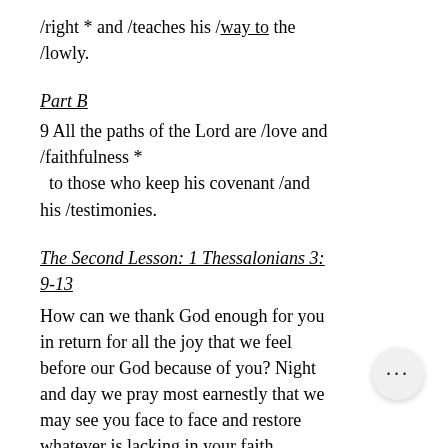/right * and /teaches his /way to the /lowly.
Part B
9 All the paths of the Lord are /love and /faithfulness *
  to those who keep his covenant /and his /testimonies.
The Second Lesson: 1 Thessalonians 3: 9-13
How can we thank God enough for you in return for all the joy that we feel before our God because of you? Night and day we pray most earnestly that we may see you face to face and restore whatever is lacking in your faith.
Now may our God and Father himself